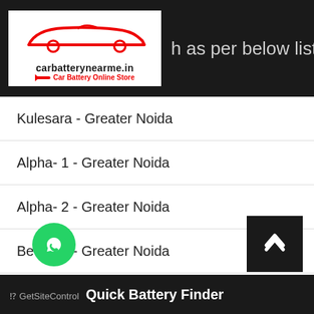carbatterynearme.in — Car Battery Online Store (navigation header)
Kulesara - Greater Noida
Alpha- 1 - Greater Noida
Alpha- 2 - Greater Noida
Beta – 1 - Greater Noida
Bhanauta - Greater Noida
Dadaki - Greater Noida
[partially visible] - Greater Noida
Quick Battery Finder